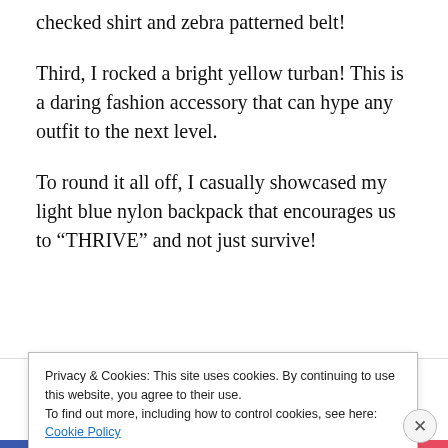checked shirt and zebra patterned belt!
Third, I rocked a bright yellow turban! This is a daring fashion accessory that can hype any outfit to the next level.
To round it all off, I casually showcased my light blue nylon backpack that encourages us to “THRIVE” and not just survive!
GET THE APP
Privacy & Cookies: This site uses cookies. By continuing to use this website, you agree to their use.
To find out more, including how to control cookies, see here: Cookie Policy
Close and accept